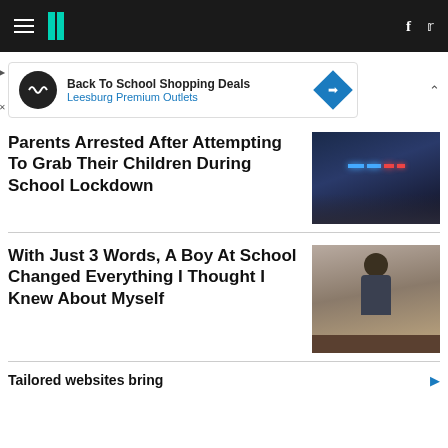HuffPost navigation bar
[Figure (screenshot): Advertisement banner: Back To School Shopping Deals - Leesburg Premium Outlets]
Parents Arrested After Attempting To Grab Their Children During School Lockdown
[Figure (photo): Police car with blue and red lights]
With Just 3 Words, A Boy At School Changed Everything I Thought I Knew About Myself
[Figure (photo): Boy sitting outdoors in winter landscape]
Tailored websites bring